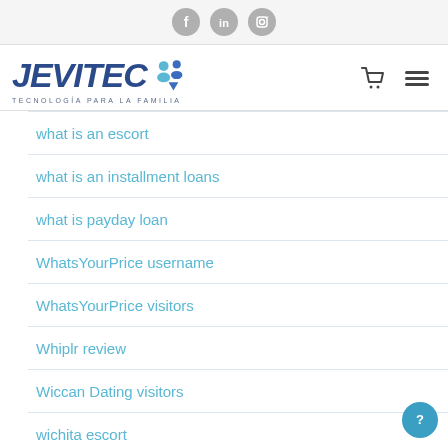[Figure (logo): Social media icons bar: Facebook, LinkedIn, Instagram circular gray icons]
[Figure (logo): JEVITEC logo with tagline TECNOLOGÍA PARA LA FAMILIA, shopping cart and hamburger menu icons]
what is an escort
what is an installment loans
what is payday loan
WhatsYourPrice username
WhatsYourPrice visitors
Whiplr review
Wiccan Dating visitors
wichita escort